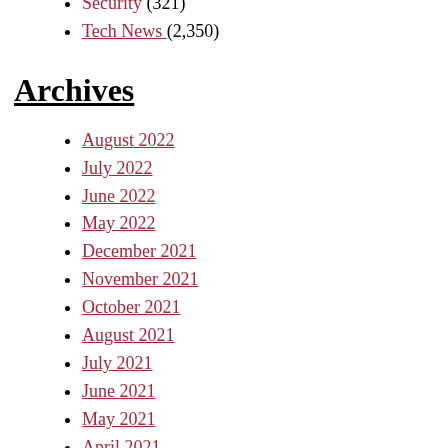Security (321)
Tech News (2,350)
Archives
August 2022
July 2022
June 2022
May 2022
December 2021
November 2021
October 2021
August 2021
July 2021
June 2021
May 2021
April 2021
March 2021
February 2021
January 2021
Categories
AI